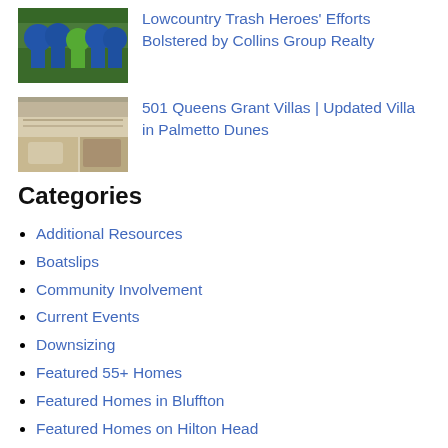[Figure (photo): Group of people in blue shirts outdoors, community event]
Lowcountry Trash Heroes' Efforts Bolstered by Collins Group Realty
[Figure (photo): Interior of a villa with open porch and furniture]
501 Queens Grant Villas | Updated Villa in Palmetto Dunes
Categories
Additional Resources
Boatslips
Community Involvement
Current Events
Downsizing
Featured 55+ Homes
Featured Homes in Bluffton
Featured Homes on Hilton Head
Featured Land in Bluffton
Featured Land on Hilton Head